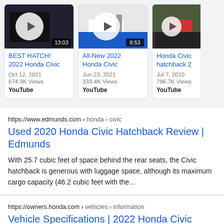[Figure (screenshot): Video card 1: BEST HATCH! 2022 Honda Civic, duration 13:03, Oct 12, 2021, 674.9K Views, YouTube]
[Figure (screenshot): Video card 2: All-New 2022 Honda Civic, duration 8:53, Jun 23, 2021, 333.4K Views, YouTube]
[Figure (screenshot): Video card 3 (partial): Honda Civic hatchback 2, Jul 7, 2010, 706.7K Views, YouTube]
https://www.edmunds.com › honda › civic
Used 2020 Honda Civic Hatchback Review | Edmunds
With 25.7 cubic feet of space behind the rear seats, the Civic hatchback is generous with luggage space, although its maximum cargo capacity (46.2 cubic feet with the...
https://owners.honda.com › vehicles › information
Vehicle Specifications | 2022 Honda Civic